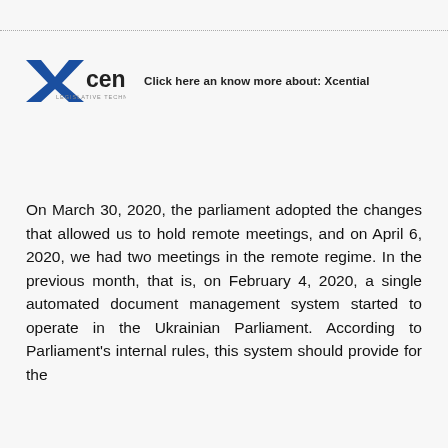[Figure (logo): Xcential Legislative Technologies logo with blue X mark and company name, followed by text: Click here an know more about: Xcential]
On March 30, 2020, the parliament adopted the changes that allowed us to hold remote meetings, and on April 6, 2020, we had two meetings in the remote regime. In the previous month, that is, on February 4, 2020, a single automated document management system started to operate in the Ukrainian Parliament. According to Parliament's internal rules, this system should provide for the